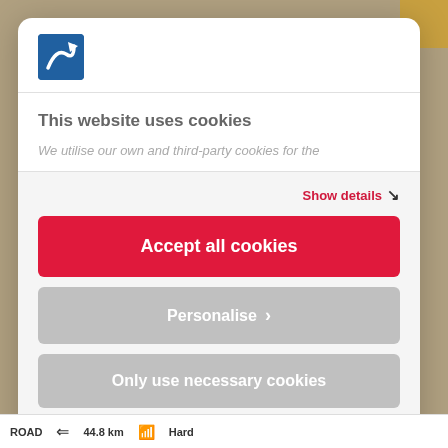[Figure (logo): Blue square logo with white arrow/route icon]
This website uses cookies
We utilise our own and third-party cookies for the
Show details
Accept all cookies
Personalise
Only use necessary cookies
Powered by Cookiebot by Usercentrics
ROAD    44.8 km    Hard